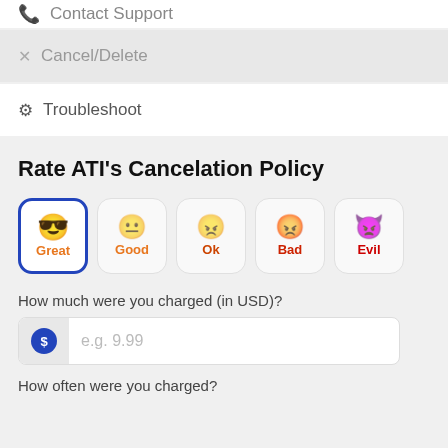Contact Support
Cancel/Delete
Troubleshoot
Rate ATI's Cancelation Policy
[Figure (infographic): Five rating buttons: Great (selected, blue border), Good, Ok, Bad, Evil — each with an emoji face and colored label]
How much were you charged (in USD)?
[Figure (infographic): Text input field with dollar sign icon and placeholder text 'e.g. 9.99']
How often were you charged?